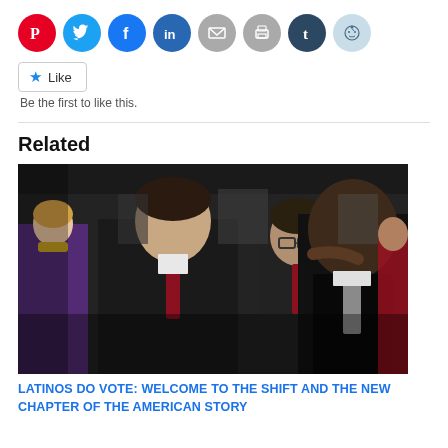[Figure (other): Social media sharing icons row: Pinterest (red), Twitter (blue), Facebook (blue), LinkedIn (dark blue), Email (grey), Print (grey), Tumblr (dark navy), Reddit (light grey-blue)]
Like
Be the first to like this.
Related
[Figure (photo): Photo of political figures at an event: a young man in a suit with a red tie facing a prominent figure in a dark suit, with Bono (glasses, red tie) visible in background, surrounded by a crowd of men and women in formal attire.]
LATINOS DO VOTE: WELCOME TO THE SHIFT AND THE NEW CHAPTER OF THE AMERICAN STORY